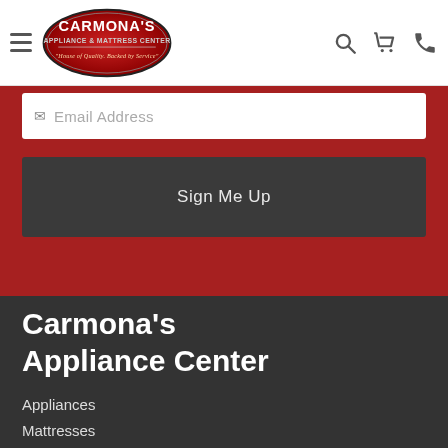Carmona's Appliance & Mattress Center
Email Address
Sign Me Up
Carmona's Appliance Center
Appliances
Mattresses
Homestyles